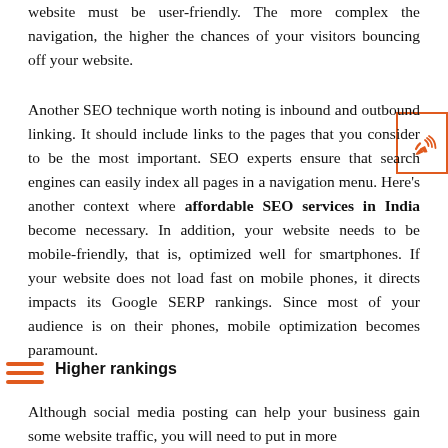website must be user-friendly. The more complex the navigation, the higher the chances of your visitors bouncing off your website.
Another SEO technique worth noting is inbound and outbound linking. It should include links to the pages that you consider to be the most important. SEO experts ensure that search engines can easily index all pages in a navigation menu. Here’s another context where affordable SEO services in India become necessary. In addition, your website needs to be mobile-friendly, that is, optimized well for smartphones. If your website does not load fast on mobile phones, it directs impacts its Google SERP rankings. Since most of your audience is on their phones, mobile optimization becomes paramount.
Higher rankings
Although social media posting can help your business gain some website traffic, you will need to put in more